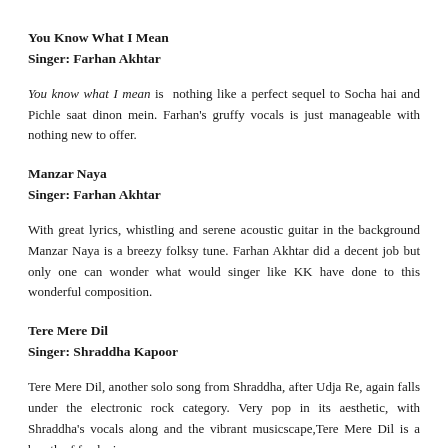You Know What I Mean
Singer: Farhan Akhtar
You know what I mean is  nothing like a perfect sequel to Socha hai and Pichle saat dinon mein. Farhan's gruffy vocals is just manageable with nothing new to offer.
Manzar Naya
Singer: Farhan Akhtar
With great lyrics, whistling and serene acoustic guitar in the background Manzar Naya is a breezy folksy tune. Farhan Akhtar did a decent job but only one can wonder what would singer like KK have done to this wonderful composition.
Tere Mere Dil
Singer: Shraddha Kapoor
Tere Mere Dil, another solo song from Shraddha, after Udja Re, again falls under the electronic rock category. Very pop in its aesthetic, with Shraddha's vocals along and the vibrant musicscape,Tere Mere Dil is a breath of fresh air.